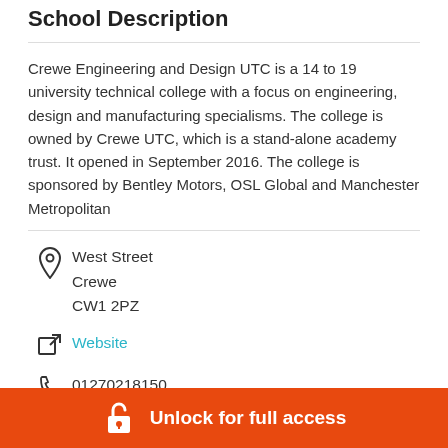School Description
Crewe Engineering and Design UTC is a 14 to 19 university technical college with a focus on engineering, design and manufacturing specialisms. The college is owned by Crewe UTC, which is a stand-alone academy trust. It opened in September 2016. The college is sponsored by Bentley Motors, OSL Global and Manchester Metropolitan
West Street
Crewe
CW1 2PZ
Website
01270218150
Unlock for full access